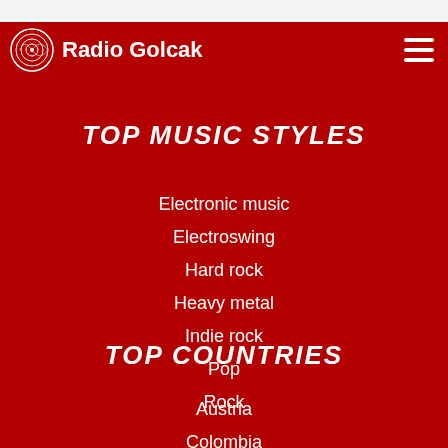[Figure (logo): Radio Golcak logo — circular spiral graphic with white lines on red background, followed by text 'Radio Golcak' in white bold font]
TOP MUSIC STYLES
Electronic music
Electroswing
Hard rock
Heavy metal
Indie rock
Pop
Rock
TOP COUNTRIES
Austria
Colombia